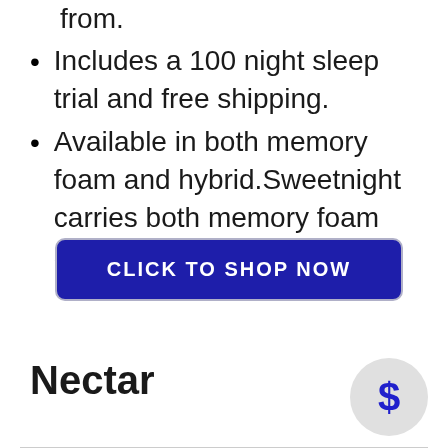from.
Includes a 100 night sleep trial and free shipping.
Available in both memory foam and hybrid.Sweetnight carries both memory foam and hybrid mattress models.
CLICK TO SHOP NOW
Nectar